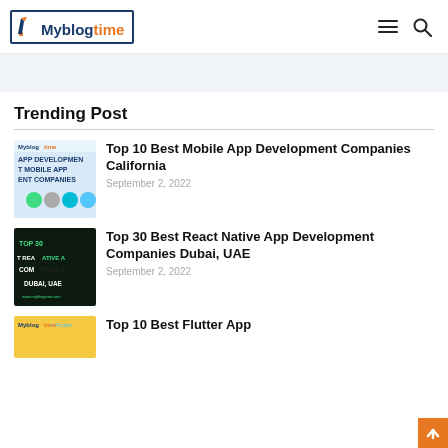Myblogtime
Trending Post
[Figure (screenshot): Thumbnail for Top 10 Best Mobile App Development Companies California article, showing app development imagery with mobile app icons]
Top 10 Best Mobile App Development Companies California
September 2, 2022
[Figure (screenshot): Dark thumbnail for Top 30 Best React Native App Development Companies Dubai, UAE showing text on dark background]
Top 30 Best React Native App Development Companies Dubai, UAE
September 2, 2022
[Figure (screenshot): Thumbnail for Top 10 Best Flutter App article]
Top 10 Best Flutter App